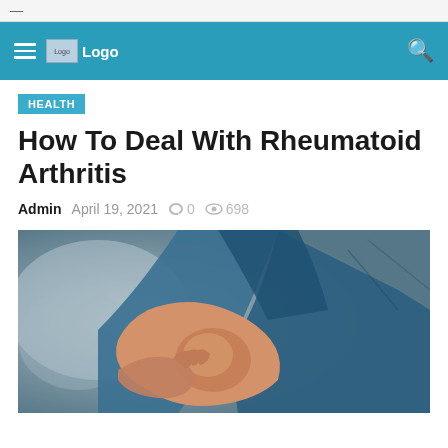—
[Figure (logo): Navigation bar with hamburger menu, Logo image, and search icon on teal background]
HEALTH
How To Deal With Rheumatoid Arthritis
Admin  April 19, 2021  0  698
[Figure (photo): Close-up photo of a person holding their elbow, wearing a blue shirt, with blurred background — illustrating rheumatoid arthritis joint pain]